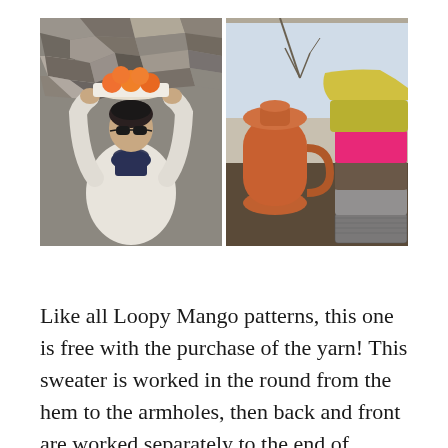[Figure (photo): Two side-by-side photos: left photo shows a woman wearing a cream/white knit sweater and sunglasses, holding a bowl of oranges above her head, standing in front of a stone wall; right photo shows a stack of colorful folded knit sweaters (yellow, pink/magenta, brown/tweed, gray, black/white) next to a large terracotta jug on a dark surface near a window.]
Like all Loopy Mango patterns, this one is free with the purchase of the yarn! This sweater is worked in the round from the hem to the armholes, then back and front are worked separately to the end of raglan shaping. The sleeves are worked in the round